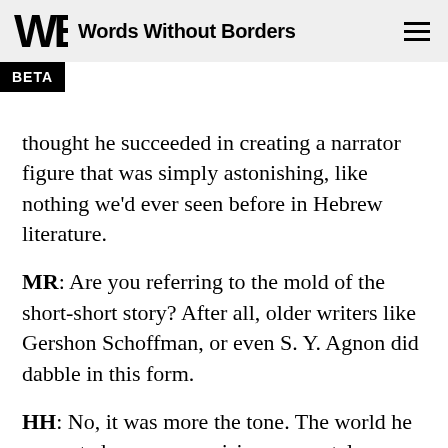Words Without Borders
thought he succeeded in creating a narrator figure that was simply astonishing, like nothing we'd ever seen before in Hebrew literature.
MR: Are you referring to the mold of the short-short story? After all, older writers like Gershon Schoffman, or even S. Y. Agnon did dabble in this form.
HH: No, it was more the tone. The world he presented was so surprising, so acutely curious, a world on the verge of the hallucinatory, yet at the same time quite normal, completely consistent on its own terms. I felt that this fictional world